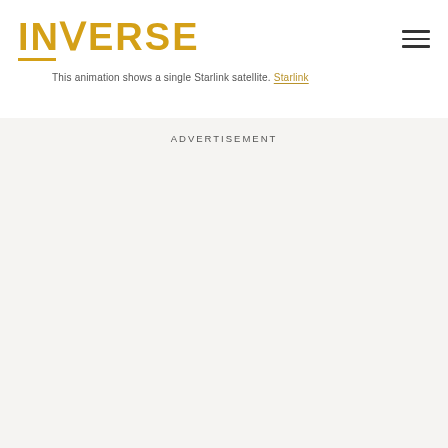INVERSE
This animation shows a single Starlink satellite. Starlink
ADVERTISEMENT